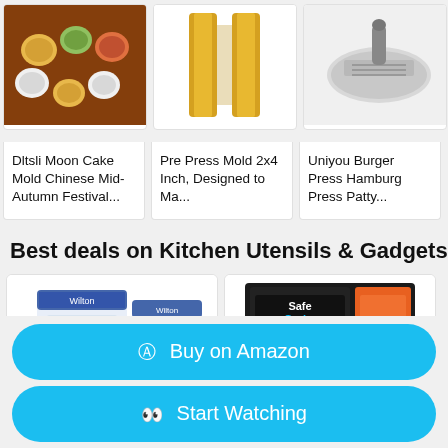[Figure (photo): Product card: Dltsli Moon Cake Mold Chinese Mid-Autumn Festival - photo of colorful mooncakes on wooden tray]
Dltsli Moon Cake Mold Chinese Mid-Autumn Festival...
[Figure (photo): Product card: Pre Press Mold 2x4 Inch, Designed to Ma... - photo of yellow metal press molds]
Pre Press Mold 2x4 Inch, Designed to Ma...
[Figure (photo): Product card: Uniyou Burger Press Hamburg Press Patty... - photo of silver burger press]
Uniyou Burger Press Hamburg Press Patty...
Best deals on Kitchen Utensils & Gadgets
[Figure (photo): Product deal card with white product box (Wilton brand baking items)]
[Figure (photo): Product deal card showing SafeGrabs Multi-Purpose silicone mat packaging]
Buy on Amazon
Start Watching